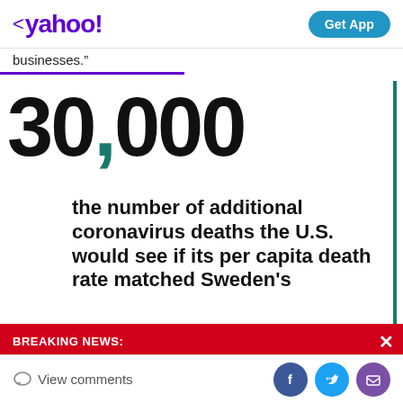< yahoo!  Get App
businesses."
[Figure (infographic): Large bold text showing '30,000' with a teal comma, followed by body text: 'the number of additional coronavirus deaths the U.S. would see if its per capita death rate matched Sweden's']
BREAKING NEWS:
Liz Truss will become Britain's next prime minister
View comments  [Facebook] [Twitter] [Mail]